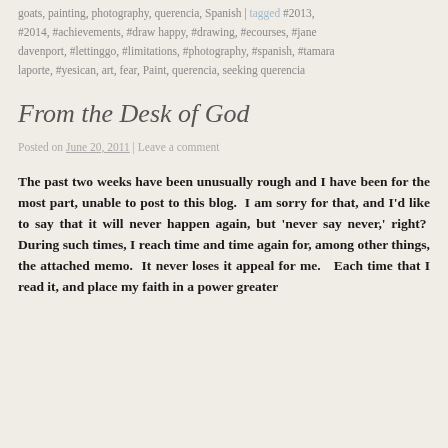goats, painting, photography, querencia, Spanish | tagged #2013, #2014, #achievements, #draw happy, #drawing, #ecourses, #jane davenport, #lettinggo, #limitations, #photography, #spanish, #tamara laporte, #yesican, art, fear, Paint, querencia, seeking querencia
From the Desk of God
Posted on June 20, 2011 | Leave a comment
The past two weeks have been unusually rough and I have been for the most part, unable to post to this blog.  I am sorry for that, and I'd like to say that it will never happen again, but 'never say never,' right?  During such times, I reach time and time again for, among other things, the attached memo.  It never loses it appeal for me.   Each time that I read it, and place my faith in a power greater